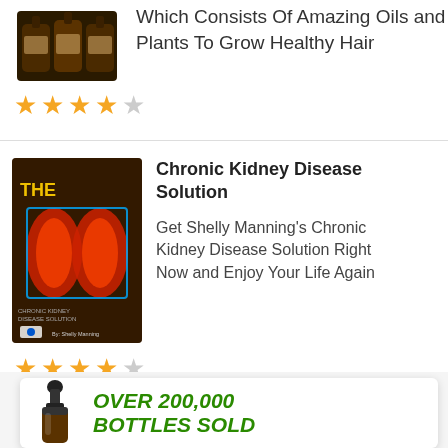[Figure (photo): Product image: multiple brown bottles of hair oil]
Which Consists Of Amazing Oils and Plants To Grow Healthy Hair
[Figure (other): 4-star rating (4 out of 5 stars)]
[Figure (photo): Book cover: The Chronic Kidney Disease Solution by Shelly Manning]
Chronic Kidney Disease Solution
Get Shelly Manning's Chronic Kidney Disease Solution Right Now and Enjoy Your Life Again
[Figure (other): 4-star rating (4 out of 5 stars)]
[Figure (photo): Dropper bottle product image with text OVER 200,000 BOTTLES SOLD]